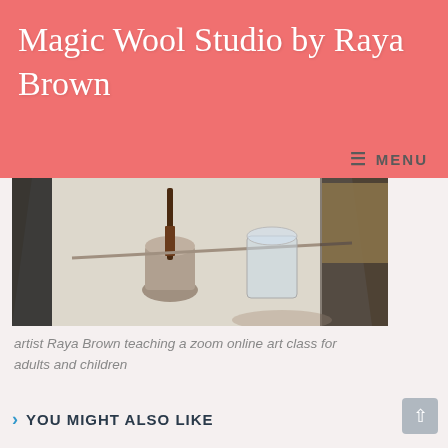Magic Wool Studio by Raya Brown
☰ MENU
[Figure (photo): A workspace table with a small cup containing a palette knife/brush, a glass of water, and other art supplies on a white surface, photographed during an online art class.]
artist Raya Brown teaching a zoom online art class for adults and children
YOU MIGHT ALSO LIKE